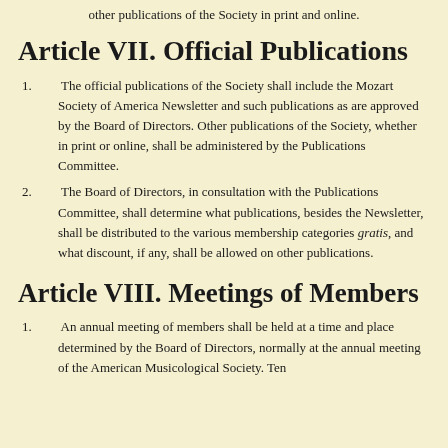other publications of the Society in print and online.
Article VII. Official Publications
1. The official publications of the Society shall include the Mozart Society of America Newsletter and such publications as are approved by the Board of Directors. Other publications of the Society, whether in print or online, shall be administered by the Publications Committee.
2. The Board of Directors, in consultation with the Publications Committee, shall determine what publications, besides the Newsletter, shall be distributed to the various membership categories gratis, and what discount, if any, shall be allowed on other publications.
Article VIII. Meetings of Members
1. An annual meeting of members shall be held at a time and place determined by the Board of Directors, normally at the annual meeting of the American Musicological Society. Ten